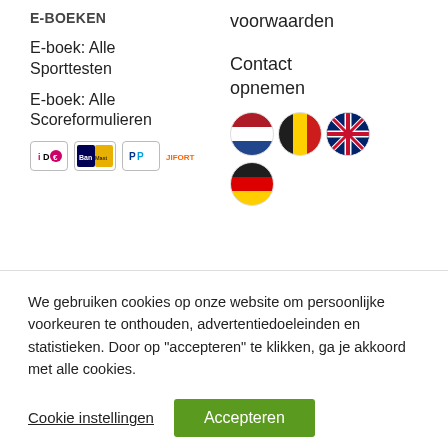E-BOEKEN
E-boek: Alle Sporttesten
E-boek: Alle Scoreformulieren
voorwaarden
Contact opnemen
[Figure (illustration): Flag icons for Netherlands, Belgium, UK, and Germany]
[Figure (illustration): Payment method badges: iDEAL, Bancontact/Mister Cash, PayPal, Jifort]
We gebruiken cookies op onze website om persoonlijke voorkeuren te onthouden, advertentiedoeleinden en statistieken. Door op "accepteren" te klikken, ga je akkoord met alle cookies.
Cookie instellingen   Accepteren